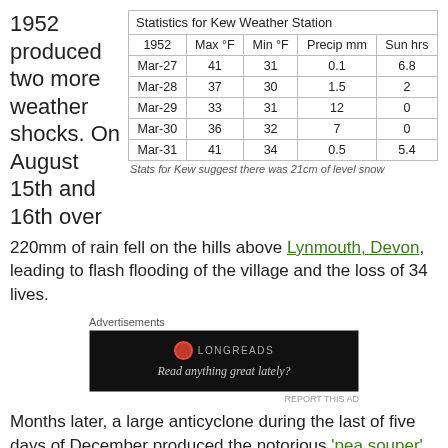1952 produced two more weather shocks. On August 15th and 16th over
| Statistics for Kew Weather Station |  |  |  |  |
| --- | --- | --- | --- | --- |
| 1952 | Max °F | Min °F | Precip mm | Sun hrs |
| Mar-27 | 41 | 31 | 0.1 | 6.8 |
| Mar-28 | 37 | 30 | 1.5 | 2 |
| Mar-29 | 33 | 31 | 12 | 0 |
| Mar-30 | 36 | 32 | 7 | 0 |
| Mar-31 | 41 | 34 | 0.5 | 5.4 |
Stats for Kew suggest there was 21cm of level snow
220mm of rain fell on the hills above Lynmouth, Devon, leading to flash flooding of the village and the loss of 34 lives.
[Figure (other): Longreads advertisement: black box with Longreads logo and tagline 'Read anything great lately?']
Months later, a large anticyclone during the last of five days of December produced the notorious 'pea souper' fog that contributed to the death of thousands of Londoners. This fog,